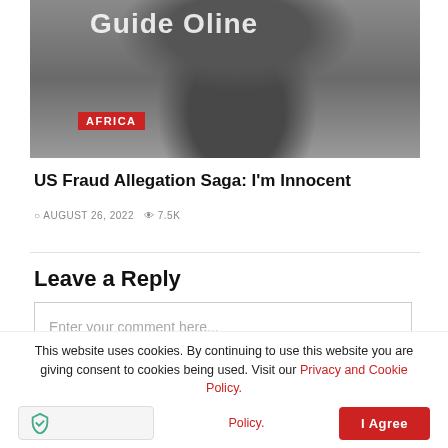[Figure (photo): Cropped photo of a bearded man in a houndstooth jacket and red tie, with partial heading text 'Guide Online' visible at the top. An 'AFRICA' red category badge overlays the lower-left of the image.]
US Fraud Allegation Saga: I'm Innocent
AUGUST 26, 2022  7.5K
Leave a Reply
Enter your comment here...
This website uses cookies. By continuing to use this website you are giving consent to cookies being used. Visit our Privacy and Cookie Policy.
I Agree